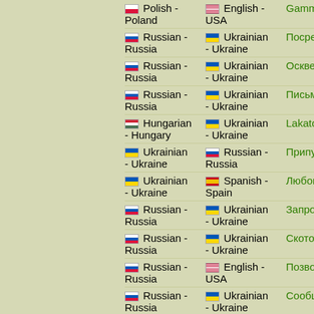Polish - Poland | English - USA | Gammakam...
Russian - Russia | Ukrainian - Ukraine | Посредство...
Russian - Russia | Ukrainian - Ukraine | Осквернять
Russian - Russia | Ukrainian - Ukraine | Письменно...
Hungarian - Hungary | Ukrainian - Ukraine | Lakatos
Ukrainian - Ukraine | Russian - Russia | Припущенн...
Ukrainian - Ukraine | Spanish - Spain | Любов
Russian - Russia | Ukrainian - Ukraine | Запрос
Russian - Russia | Ukrainian - Ukraine | Скотоводст...
Russian - Russia | English - USA | Позвоночни...
Russian - Russia | Ukrainian - Ukraine | Сообщение
Russian - Russia | Ukrainian - Ukraine | Расположен...